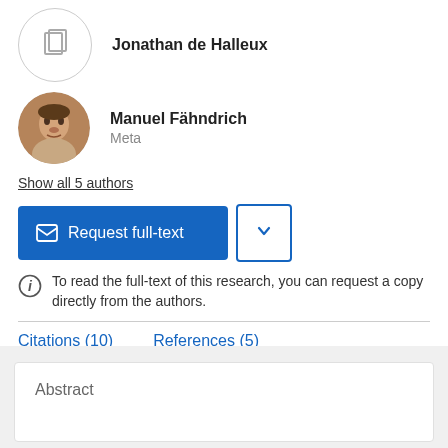[Figure (illustration): Avatar placeholder icon for Jonathan de Halleux — circular border with document/copy icon inside]
Jonathan de Halleux
[Figure (photo): Circular profile photo of Manuel Fähndrich]
Manuel Fähndrich
Meta
Show all 5 authors
Request full-text
To read the full-text of this research, you can request a copy directly from the authors.
Citations (10)
References (5)
Abstract